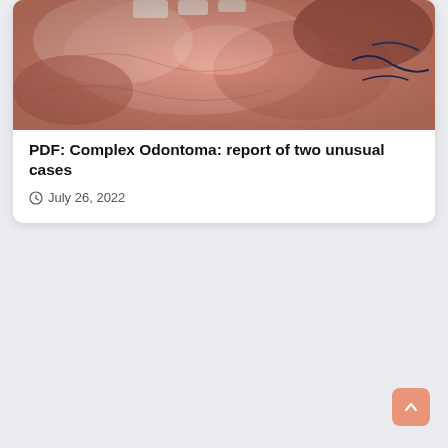[Figure (photo): Close-up medical/dental photograph showing oral tissue, pink and reddish gum tissue with surgical sutures visible, likely post-operative view of an odontoma site.]
PDF: Complex Odontoma: report of two unusual cases
July 26, 2022